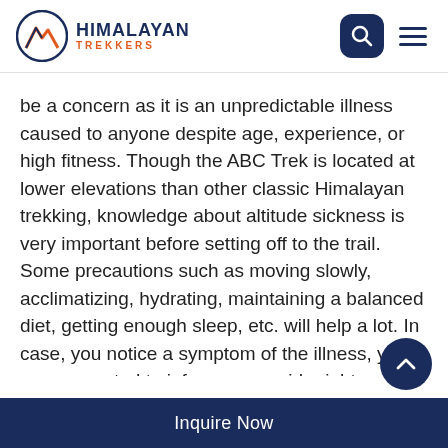HIMALAYAN TREKKERS
be a concern as it is an unpredictable illness caused to anyone despite age, experience, or high fitness. Though the ABC Trek is located at lower elevations than other classic Himalayan trekking, knowledge about altitude sickness is very important before setting off to the trail. Some precautions such as moving slowly, acclimatizing, hydrating, maintaining a balanced diet, getting enough sleep, etc. will help a lot. In case, you notice a symptom of the illness, you are suggested to inform your guide right away. Carrying altitude sickness medicines such as Diamox can come in handy.
Inquire Now